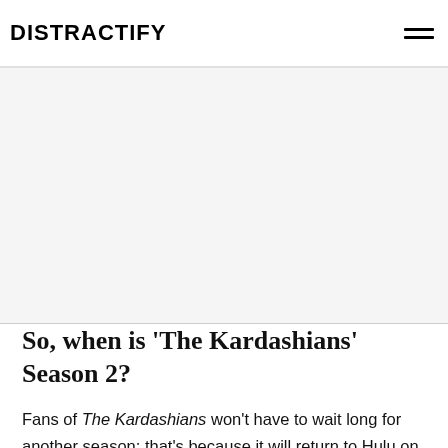DISTRACTIFY
[Figure (other): Advertisement / blank gray area placeholder]
So, when is 'The Kardashians' Season 2?
Fans of The Kardashians won't have to wait long for another season; that's because it will return to Hulu on